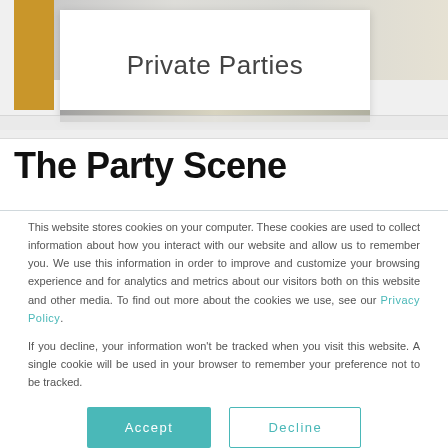[Figure (screenshot): Screenshot of a website showing a 'Private Parties' card overlay on a page with a gold/yellow left panel and background photos, plus a blurred browser address bar strip below.]
The Party Scene
This website stores cookies on your computer. These cookies are used to collect information about how you interact with our website and allow us to remember you. We use this information in order to improve and customize your browsing experience and for analytics and metrics about our visitors both on this website and other media. To find out more about the cookies we use, see our Privacy Policy.
If you decline, your information won't be tracked when you visit this website. A single cookie will be used in your browser to remember your preference not to be tracked.